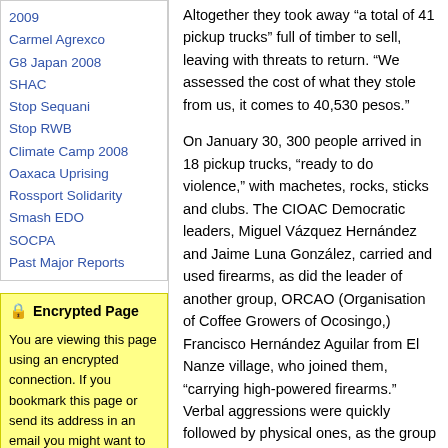2009
Carmel Agrexco
G8 Japan 2008
SHAC
Stop Sequani
Stop RWB
Climate Camp 2008
Oaxaca Uprising
Rossport Solidarity
Smash EDO
SOCPA
Past Major Reports
🔒 Encrypted Page
You are viewing this page using an encrypted connection. If you bookmark this page or send its address in an email you might want to use the un-encrypted address of this page. If you recieved a warning
Altogether they took away “a total of 41 pickup trucks” full of timber to sell, leaving with threats to return. “We assessed the cost of what they stole from us, it comes to 40,530 pesos.”
On January 30, 300 people arrived in 18 pickup trucks, “ready to do violence,” with machetes, rocks, sticks and clubs. The CIOAC Democratic leaders, Miguel Vázquez Hernández and Jaime Luna González, carried and used firearms, as did the leader of another group, ORCAO (Organisation of Coffee Growers of Ocosingo,) Francisco Hernández Aguilar from El Nanze village, who joined them, “carrying high-powered firearms.” Verbal aggressions were quickly followed by physical ones, as the group from 20 de Noviembre “where some people have for a long time tried to appropriate the lands of 10 de Abril, over which they have no rights,” began to beat the BAZ. Very significantly, the Junta says, as it also